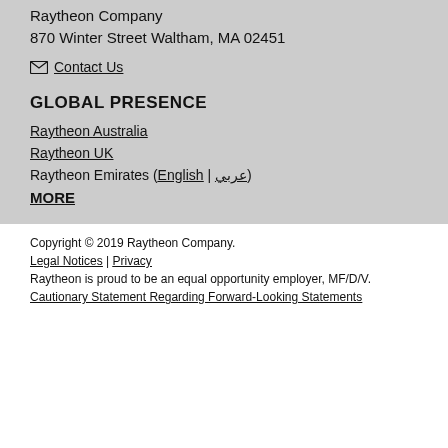Raytheon Company
870 Winter Street Waltham, MA 02451
Contact Us
GLOBAL PRESENCE
Raytheon Australia
Raytheon UK
Raytheon Emirates (English | عربي)
MORE
Copyright © 2019 Raytheon Company.
Legal Notices | Privacy
Raytheon is proud to be an equal opportunity employer, MF/D/V.
Cautionary Statement Regarding Forward-Looking Statements